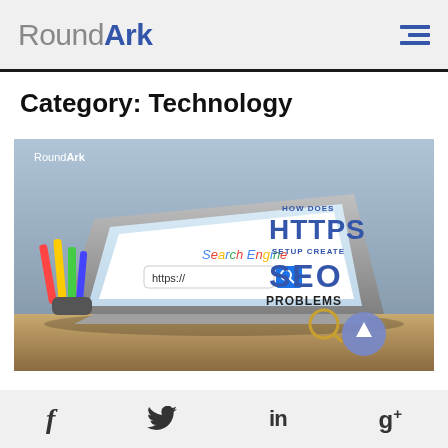RoundArk
Category: Technology
[Figure (infographic): RoundArk blog thumbnail showing a laptop with a Google-style search bar showing 'https://' and text overlay reading 'HOW DOES HTTPS SETUP CREATE SEO PROBLEMS']
f  Twitter  in  g+